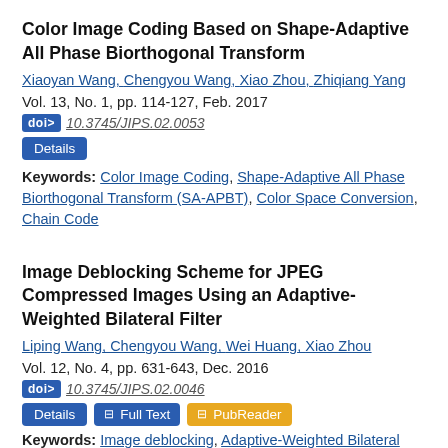Color Image Coding Based on Shape-Adaptive All Phase Biorthogonal Transform
Xiaoyan Wang, Chengyou Wang, Xiao Zhou, Zhiqiang Yang
Vol. 13, No. 1, pp. 114-127, Feb. 2017
doi> 10.3745/JIPS.02.0053
Details Keywords: Color Image Coding, Shape-Adaptive All Phase Biorthogonal Transform (SA-APBT), Color Space Conversion, Chain Code
Image Deblocking Scheme for JPEG Compressed Images Using an Adaptive-Weighted Bilateral Filter
Liping Wang, Chengyou Wang, Wei Huang, Xiao Zhou
Vol. 12, No. 4, pp. 631-643, Dec. 2016
doi> 10.3745/JIPS.02.0046
Details  Full Text  PubReader
Keywords: Image deblocking, Adaptive-Weighted Bilateral Filter, Blocking Artefacts,